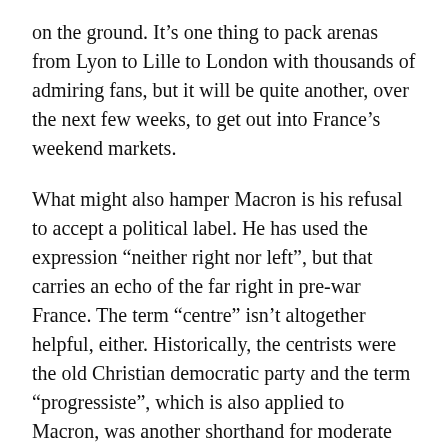on the ground. It’s one thing to pack arenas from Lyon to Lille to London with thousands of admiring fans, but it will be quite another, over the next few weeks, to get out into France’s weekend markets.
What might also hamper Macron is his refusal to accept a political label. He has used the expression “neither right nor left”, but that carries an echo of the far right in pre-war France. The term “centre” isn’t altogether helpful, either. Historically, the centrists were the old Christian democratic party and the term “progressiste”, which is also applied to Macron, was another shorthand for moderate reformists. And, again historically, these parties sided with the right.
Macron’s political meaning, then, remains elusive. We are still waiting for his portentously titled ten-